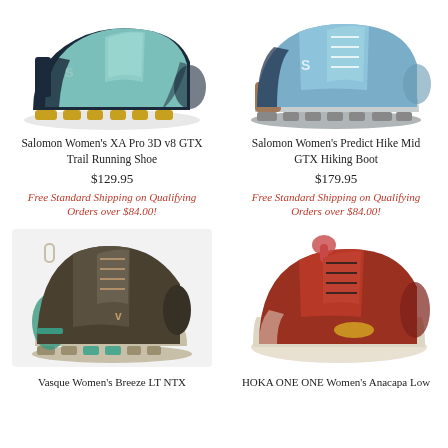[Figure (photo): Salomon Women's XA Pro 3D v8 GTX Trail Running Shoe - teal/yellow/dark shoe, side view]
[Figure (photo): Salomon Women's Predict Hike Mid GTX Hiking Boot - blue/grey shoe, side view]
Salomon Women's XA Pro 3D v8 GTX Trail Running Shoe
$129.95
Free Standard Shipping on Qualifying Orders over $84.00!
Salomon Women's Predict Hike Mid GTX Hiking Boot
$179.95
Free Standard Shipping on Qualifying Orders over $84.00!
[Figure (photo): Vasque Women's Breeze LT NTX - dark olive/teal mid hiking boot, side view]
[Figure (photo): HOKA ONE ONE Women's Anacapa Low - rust red/cream trail shoe, side view]
Vasque Women's Breeze LT NTX
HOKA ONE ONE Women's Anacapa Low